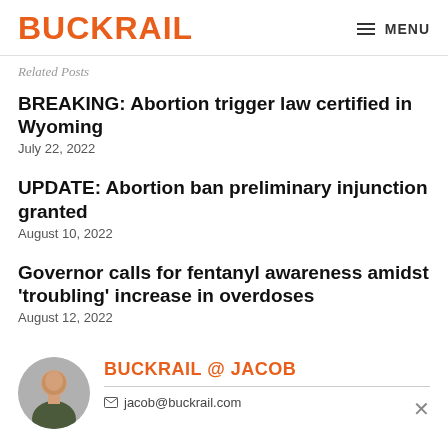BUCKRAIL  MENU
Related Posts
BREAKING: Abortion trigger law certified in Wyoming
July 22, 2022
UPDATE: Abortion ban preliminary injunction granted
August 10, 2022
Governor calls for fentanyl awareness amidst 'troubling' increase in overdoses
August 12, 2022
BUCKRAIL @ JACOB
jacob@buckrail.com